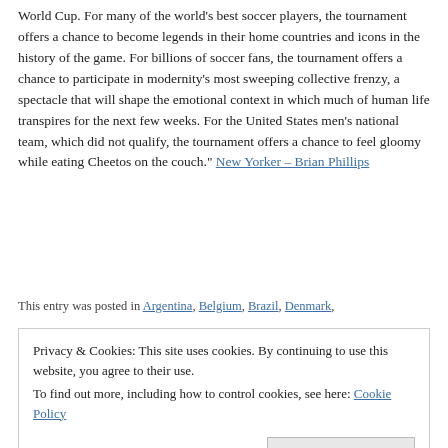World Cup. For many of the world's best soccer players, the tournament offers a chance to become legends in their home countries and icons in the history of the game. For billions of soccer fans, the tournament offers a chance to participate in modernity's most sweeping collective frenzy, a spectacle that will shape the emotional context in which much of human life transpires for the next few weeks. For the United States men's national team, which did not qualify, the tournament offers a chance to feel gloomy while eating Cheetos on the couch." New Yorker – Brian Phillips
This entry was posted in Argentina, Belgium, Brazil, Denmark,
Privacy & Cookies: This site uses cookies. By continuing to use this website, you agree to their use. To find out more, including how to control cookies, see here: Cookie Policy
Close and accept